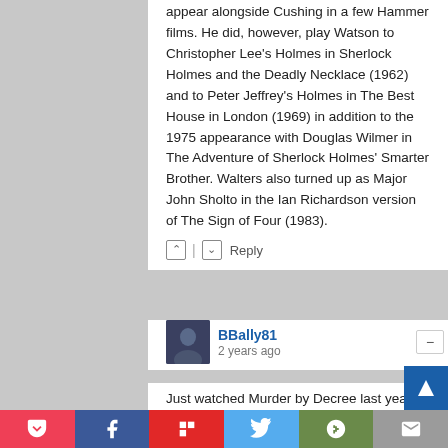appear alongside Cushing in a few Hammer films. He did, however, play Watson to Christopher Lee's Holmes in Sherlock Holmes and the Deadly Necklace (1962) and to Peter Jeffrey's Holmes in The Best House in London (1969) in addition to the 1975 appearance with Douglas Wilmer in The Adventure of Sherlock Holmes' Smarter Brother. Walters also turned up as Major John Sholto in the Ian Richardson version of The Sign of Four (1983).
BBally81
2 years ago
Just watched Murder by Decree last year, I really liked his more emotional and compassionate take on the character, definitely in my top 10 favorite Sherlock
Pocket | Facebook | Flipboard | Twitter | G+ | Email